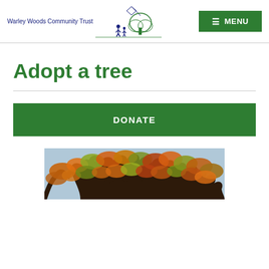Warley Woods Community Trust | MENU
Adopt a tree
DONATE
[Figure (photo): A close-up photograph of tree branches with autumn leaves in shades of orange, red, and green]